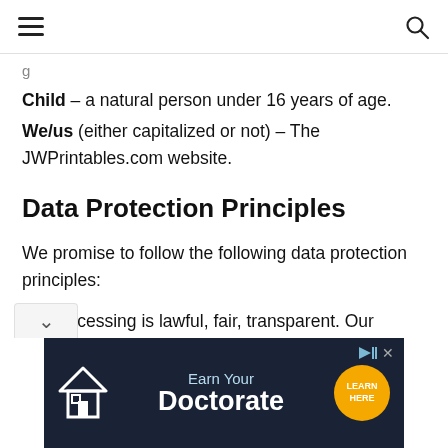≡  [search icon]
Child – a natural person under 16 years of age.
We/us (either capitalized or not) – The JWPrintables.com website.
Data Protection Principles
We promise to follow the following data protection principles:
Processing is lawful, fair, transparent. Our Processing activities have lawful grounds. We always consider your rights before Processing Personal Data. We will provide you information
[Figure (other): Advertisement banner: dark navy background with house icon, text 'Earn Your Doctorate', orange LEARN circle button]